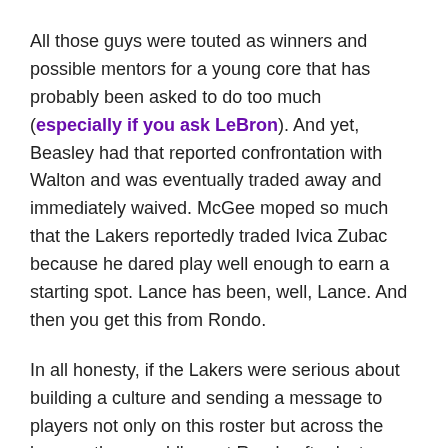All those guys were touted as winners and possible mentors for a young core that has probably been asked to do too much (especially if you ask LeBron). And yet, Beasley had that reported confrontation with Walton and was eventually traded away and immediately waived. McGee moped so much that the Lakers reportedly traded Ivica Zubac because he dared play well enough to earn a starting spot. Lance has been, well, Lance. And then you get this from Rondo.
In all honesty, if the Lakers were serious about building a culture and sending a message to players not only on this roster but across the league, they would've cut Rondo after last night's stunt. He showed up his team (and apparently not for the first time). If we're going to